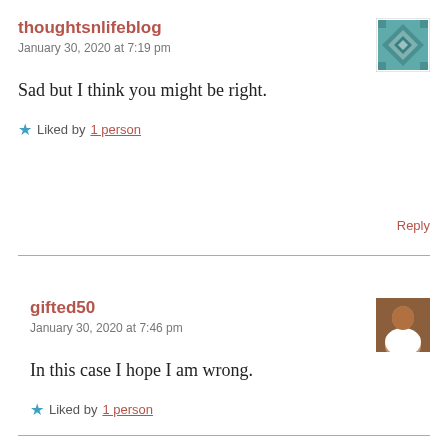thoughtsnlifeblog
January 30, 2020 at 7:19 pm
Sad but I think you might be right.
Liked by 1 person
Reply
gifted50
January 30, 2020 at 7:46 pm
In this case I hope I am wrong.
Liked by 1 person